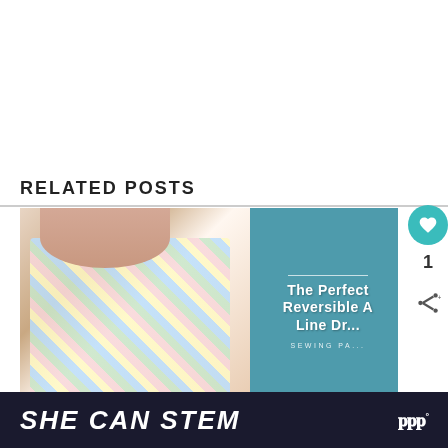RELATED POSTS
[Figure (photo): Blog post thumbnail showing a young child wearing a colorful elephant-print reversible A-line dress, with teal background and overlaid text reading 'The Perfect Reversible A Line Dr... Sewing Pa...']
WHAT'S NEXT → High-Waisted Baby Bell...
SHE CAN STEM